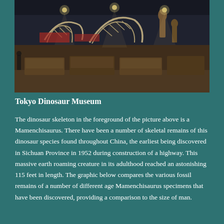[Figure (photo): Interior of Tokyo Dinosaur Museum showing dinosaur skeletons on display with exhibit cases and lighting in the background]
Tokyo Dinosaur Museum
The dinosaur skeleton in the foreground of the picture above is a Mamenchisaurus. There have been a number of skeletal remains of this dinosaur species found throughout China, the earliest being discovered in Sichuan Province in 1952 during construction of a highway. This massive earth roaming creature in its adulthood reached an astonishing 115 feet in length. The graphic below compares the various fossil remains of a number of different age Mamenchisaurus specimens that have been discovered, providing a comparison to the size of man.